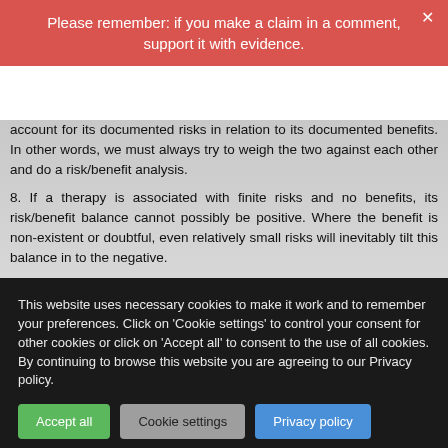Please remember: if you make a claim in a comment, support it with evidence.
account for its documented risks in relation to its documented benefits. In other words, we must always try to weigh the two against each other and do a risk/benefit analysis.
8. If a therapy is associated with finite risks and no benefits, its risk/benefit balance cannot possibly be positive. Where the benefit is non-existent or doubtful, even relatively small risks will inevitably tilt this balance in to the negative.
9. This is precisely the situation that applies to homeopathy: its benefits beyond placebo are doubtful and its risks are fairly well documented.
10. This means that homeopathy cannot be considered to be a therapy that is fit for purpose.
This website uses necessary cookies to make it work and to remember your preferences. Click on 'Cookie settings' to control your consent for other cookies or click on 'Accept all' to consent to the use of all cookies. By continuing to browse this website you are agreeing to our Privacy policy.
Accept all | Cookie settings | Privacy policy